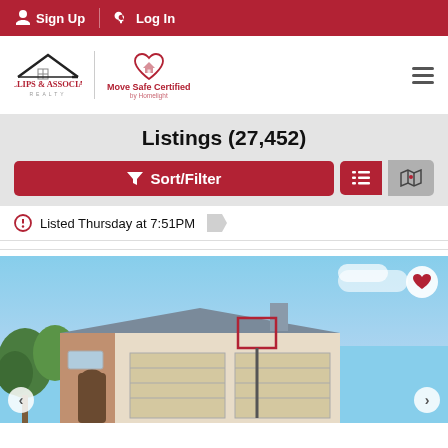Sign Up  Log In
[Figure (logo): Phillips & Associates Realty logo with house roof icon, vertical divider, Move Safe Certified heart-house icon, and hamburger menu]
Listings (27,452)
[Figure (screenshot): Sort/Filter button (red with funnel icon), list view icon button (red), and map/Yelp icon button (gray)]
Listed Thursday at 7:51PM
[Figure (photo): Exterior photo of a single-story brick home with two-car garage, basketball hoop in driveway, trees, blue sky. Heart/favorite icon top-right. Previous/next carousel arrows at bottom corners.]